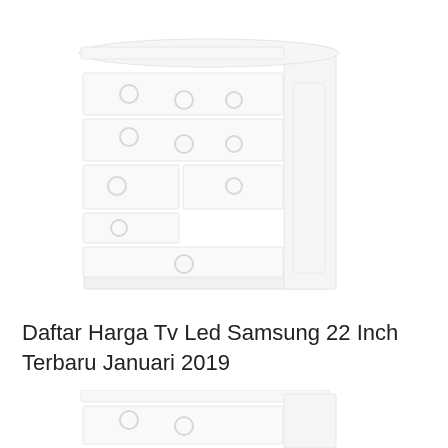[Figure (illustration): A blurred/faded illustration of a white wooden chest of drawers (dresser) with multiple drawers each having circular ring handles, shown in a 3/4 perspective view against a white background.]
Daftar Harga Tv Led Samsung 22 Inch Terbaru Januari 2019
[Figure (illustration): Partial view of another blurred/faded illustration of a similar white wooden chest of drawers, cropped at the bottom of the page.]